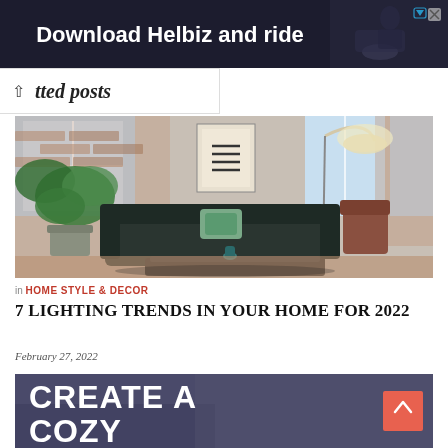[Figure (screenshot): Advertisement banner showing 'Download Helbiz and ride' with dark background and a person riding a vehicle]
tted posts
[Figure (photo): Interior living room photo with dark sofa, green plants, brick wall, large windows, arc floor lamp, and coffee table]
in HOME STYLE & DECOR
7 LIGHTING TRENDS IN YOUR HOME FOR 2022
February 27, 2022
[Figure (photo): Bottom image with large white bold text reading 'CREATE A COZY' overlaid on a dark interior background, with a coral/red scroll-to-top button]